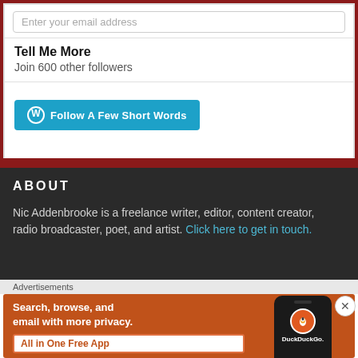Enter your email address
Tell Me More
Join 600 other followers
[Figure (other): Blue Follow A Few Short Words button with WordPress icon]
ABOUT
Nic Addenbrooke is a freelance writer, editor, content creator, radio broadcaster, poet, and artist. Click here to get in touch.
Advertisements
[Figure (other): DuckDuckGo advertisement banner: Search, browse, and email with more privacy. All in One Free App. Shows phone with DuckDuckGo logo.]